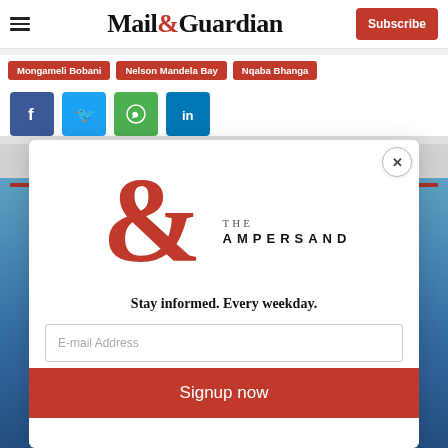Mail & Guardian — Subscribe
Mongameli Bobani
Nelson Mandela Bay
Nqaba Bhanga
[Figure (infographic): Social share buttons: Facebook (blue), Twitter (light blue), WhatsApp (green), LinkedIn (dark blue)]
[Figure (logo): The Ampersand newsletter modal popup with large red ampersand logo, 'THE AMPERSAND' text, tagline 'Stay informed. Every weekday.', email input field, and 'Signup now' red button. Close (X) button in top right.]